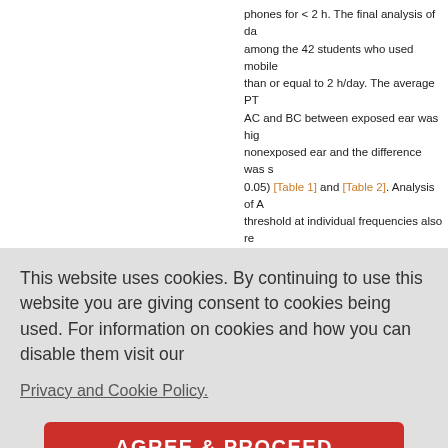phones for < 2 h. The final analysis of data among the 42 students who used mobile than or equal to 2 h/day. The average PTA AC and BC between exposed ear was higher nonexposed ear and the difference was significant (P < 0.05) [Table 1] and [Table 2]. Analysis of AC threshold at individual frequencies also revealed statistically significant difference between the nonexposed ear with a higher threshold ear [Table 1], [Table 2] and [Figure 1], [Figure no statistically significant difference in threshold 250 Hz between the exposed and nonexp
This website uses cookies. By continuing to use this website you are giving consent to cookies being used. For information on cookies and how you can disable them visit our
Privacy and Cookie Policy.
AGREE & PROCEED
Table text partial...
Ch...
Table text partial 2...
| 008 Hz | Therm Stat | 1.667 | 2.629 | 6.486 | 0.847 | 3.486 | 4.109 | 0.0652 |
| --- | --- | --- | --- | --- | --- | --- | --- | --- |